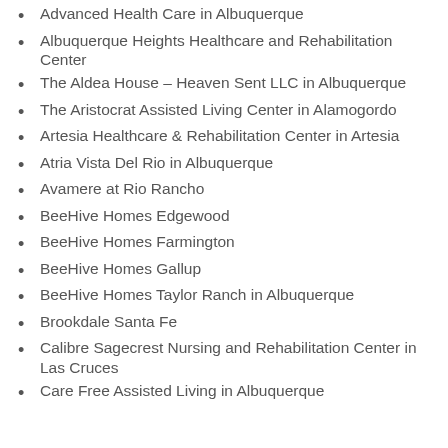Advanced Health Care in Albuquerque
Albuquerque Heights Healthcare and Rehabilitation Center
The Aldea House – Heaven Sent LLC in Albuquerque
The Aristocrat Assisted Living Center in Alamogordo
Artesia Healthcare & Rehabilitation Center in Artesia
Atria Vista Del Rio in Albuquerque
Avamere at Rio Rancho
BeeHive Homes Edgewood
BeeHive Homes Farmington
BeeHive Homes Gallup
BeeHive Homes Taylor Ranch in Albuquerque
Brookdale Santa Fe
Calibre Sagecrest Nursing and Rehabilitation Center in Las Cruces
Care Free Assisted Living in Albuquerque